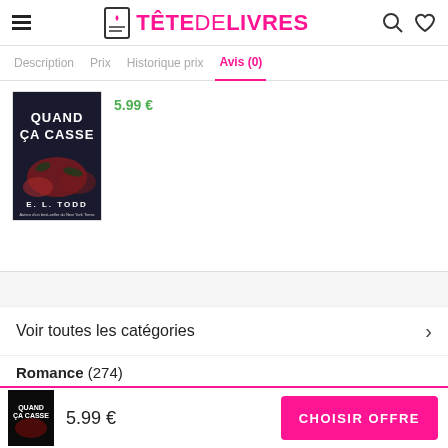TÊTE DE LIVRES
Description | Prix | Historique prix | Avis (0)
[Figure (photo): Book cover: QUAND ÇA CASSE by E. L. TODD, dark background with red/orange floral elements]
5.99 €
Voir toutes les catégories
Romance (274)
5.99 €
CHOISIR OFFRE